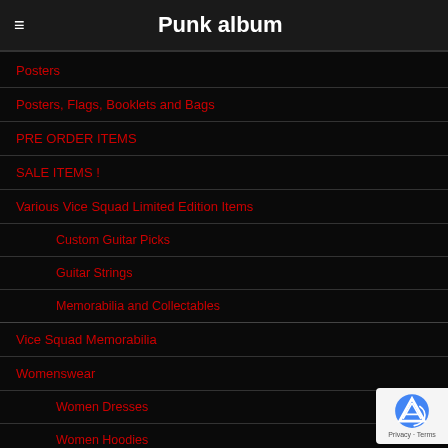Punk album
Posters
Posters, Flags, Booklets and Bags
PRE ORDER ITEMS
SALE ITEMS !
Various Vice Squad Limited Edition Items
Custom Guitar Picks
Guitar Strings
Memorabilia and Collectables
Vice Squad Memorabilia
Womenswear
Women Dresses
Women Hoodies
Women Shirts
Women Vests